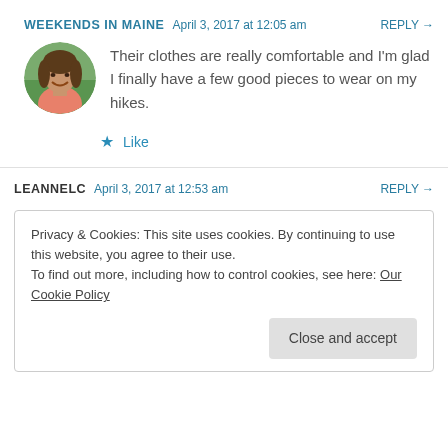WEEKENDS IN MAINE  April 3, 2017 at 12:05 am  REPLY →
[Figure (photo): Circular avatar photo of a woman smiling, wearing a pink top, outdoors with green background]
Their clothes are really comfortable and I'm glad I finally have a few good pieces to wear on my hikes.
★ Like
LEANNELC  April 3, 2017 at 12:53 am  REPLY →
Privacy & Cookies: This site uses cookies. By continuing to use this website, you agree to their use.
To find out more, including how to control cookies, see here: Our Cookie Policy
Close and accept